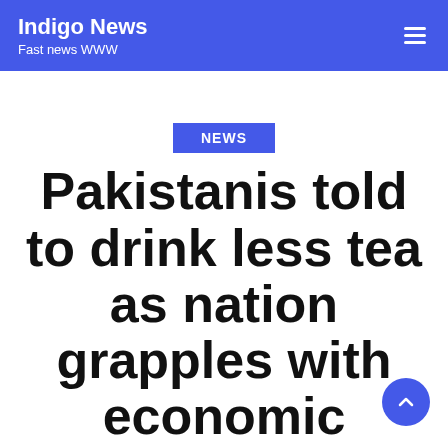Indigo News — Fast news WWW
NEWS
Pakistanis told to drink less tea as nation grapples with economic…